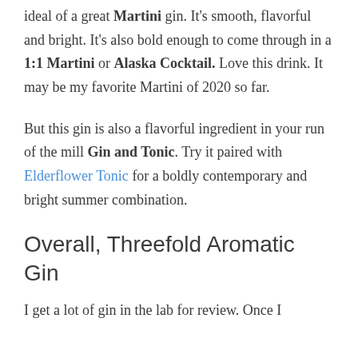ideal of a great Martini gin. It's smooth, flavorful and bright. It's also bold enough to come through in a 1:1 Martini or Alaska Cocktail. Love this drink. It may be my favorite Martini of 2020 so far.
But this gin is also a flavorful ingredient in your run of the mill Gin and Tonic. Try it paired with Elderflower Tonic for a boldly contemporary and bright summer combination.
Overall, Threefold Aromatic Gin
I get a lot of gin in the lab for review. Once I